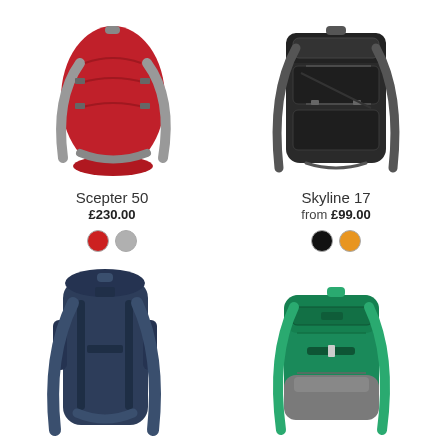[Figure (photo): Red hiking backpack (Scepter 50) with grey straps and buckles]
Scepter 50
£230.00
[Figure (illustration): Red and grey color swatches for Scepter 50]
[Figure (photo): Black urban/travel backpack (Skyline 17) with multiple compartments]
Skyline 17
from £99.00
[Figure (illustration): Black and orange color swatches for Skyline 17]
[Figure (photo): Navy blue large hiking backpack with frame]
[Figure (photo): Green and grey medium daypack]